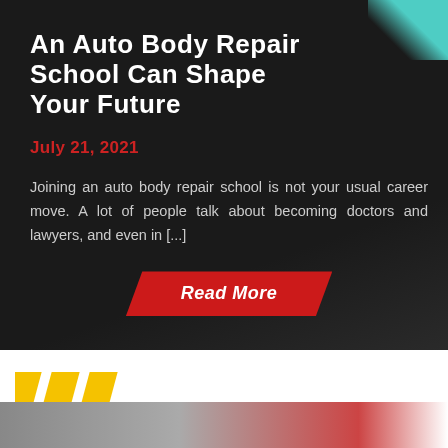An Auto Body Repair School Can Shape Your Future
July 21, 2021
Joining an auto body repair school is not your usual career move. A lot of people talk about becoming doctors and lawyers, and even in [...]
[Figure (other): Red parallelogram-shaped Read More button]
[Figure (other): Bottom section with yellow slash marks and an image strip partially visible]